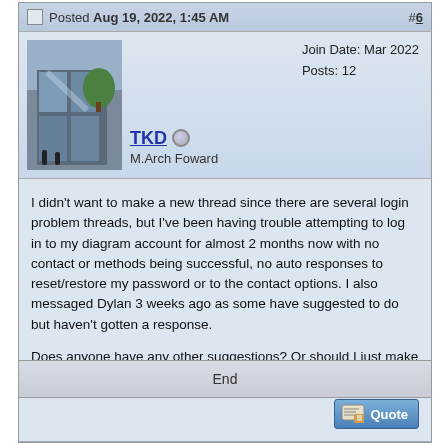Posted Aug 19, 2022, 1:45 AM  #6
TKD  M.Arch Foward  Join Date: Mar 2022  Posts: 12
I didn't want to make a new thread since there are several login problem threads, but I've been having trouble attempting to log in to my diagram account for almost 2 months now with no contact or methods being successful, no auto responses to reset/restore my password or to the contact options. I also messaged Dylan 3 weeks ago as some have suggested to do but haven't gotten a response.

Does anyone have any other suggestions? Or should I just make a new account?
End